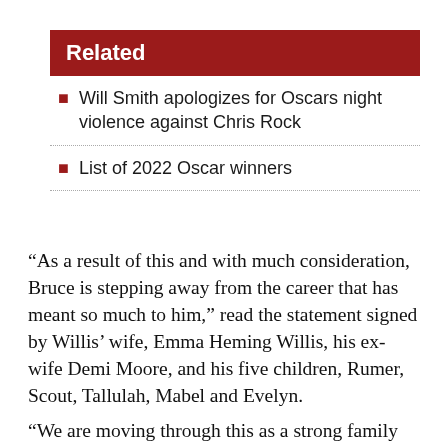Related
Will Smith apologizes for Oscars night violence against Chris Rock
List of 2022 Oscar winners
“As a result of this and with much consideration, Bruce is stepping away from the career that has meant so much to him,” read the statement signed by Willis’ wife, Emma Heming Willis, his ex-wife Demi Moore, and his five children, Rumer, Scout, Tallulah, Mabel and Evelyn.
“We are moving through this as a strong family unit, and wanted to bring his fans in because we know how much he means to you, as you do to him,” they said. “As Bruce always says, ‘Live it up’ and together we plan to do just that.”
There are many potential causes of aphasia. It often